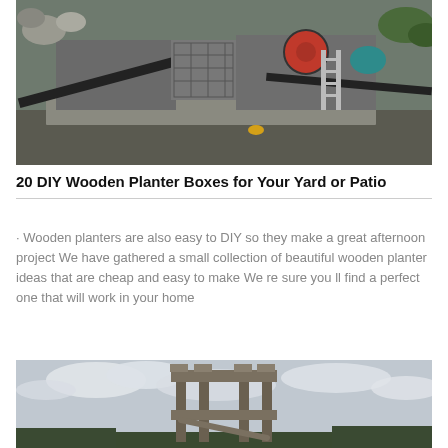[Figure (photo): Industrial crushing/mining machinery with conveyor belts, metal platforms, ladders, red flywheel, set outdoors with rocks and vegetation in background]
20 DIY Wooden Planter Boxes for Your Yard or Patio
· Wooden planters are also easy to DIY so they make a great afternoon project We have gathered a small collection of beautiful wooden planter ideas that are cheap and easy to make We re sure you ll find a perfect one that will work in your home
[Figure (photo): Wooden planter box structure frame outdoors against a cloudy sky, appears to be a tall rectangular wooden frame/stand construction]